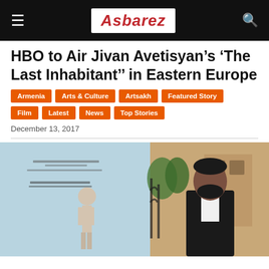Asbarez
HBO to Air Jivan Avetisyan’s ‘The Last Inhabitant’’ in Eastern Europe
Armenia
Arts & Culture
Artsakh
Featured Story
Film
Latest
News
Top Stories
December 13, 2017
[Figure (photo): Photo of a man in a tuxedo standing next to a movie poster for 'The Last Inhabitant' film outdoors near a building.]